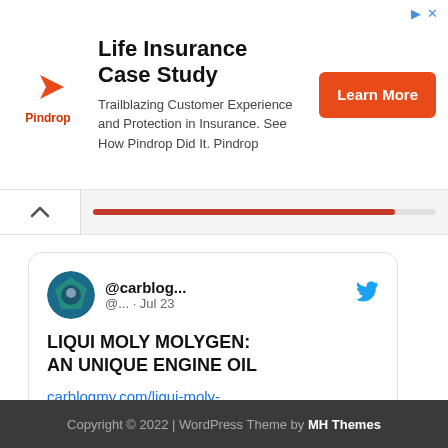[Figure (infographic): Pindrop advertisement banner: Life Insurance Case Study. Logo with orange arrow icon and Pindrop text. Body text: Trailblazing Customer Experience and Protection in Insurance. See How Pindrop Did It. Pindrop. Orange Learn More button.]
[Figure (infographic): Progress bar area with chevron/up arrow button on left and a red progress bar filling most of the track.]
[Figure (screenshot): Embedded tweet card from @carblog... (@... · Jul 23) with Twitter bird icon. Text: LIQUI MOLY MOLYGEN: AN UNIQUE ENGINE OIL. Link: carblogmy.com/liqui-moly-mol... Preview image of dark background with white shapes and label carblog...]
Copyright © 2022 | WordPress Theme by MH Themes